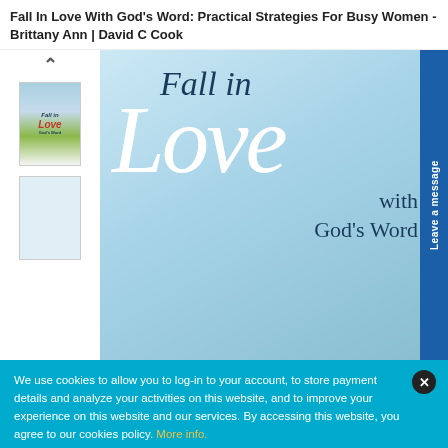Fall In Love With God’s Word: Practical Strategies For Busy Women - Brittany Ann | David C Cook
[Figure (illustration): Thumbnail of book cover showing 'Fall in Love with God's Word' with a figure jumping in a field]
[Figure (illustration): Thumbnail of interior page with text content]
[Figure (illustration): Main book cover image showing 'Fall in Love with God's Word' text on a light blue background with large italic typography]
Leave a message
We use cookies to allow you to log-in to your account, to store payment details and analyze your activities on this website, and to improve your experience on this website and our services. By accessing this website, you agree to our cookies policy. More info.
Got It!